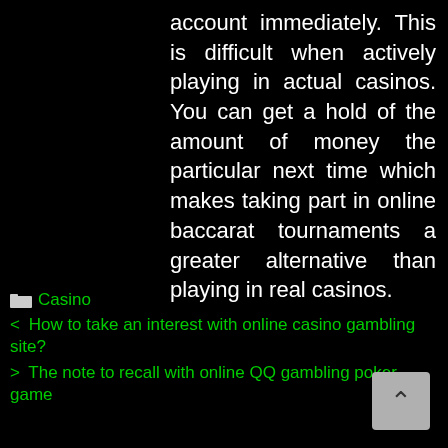account immediately. This is difficult when actively playing in actual casinos. You can get a hold of the amount of money the particular next time which makes taking part in online baccarat tournaments a greater alternative than playing in real casinos.
Casino
< How to take an interest with online casino gambling site?
> The note to recall with online QQ gambling poker game